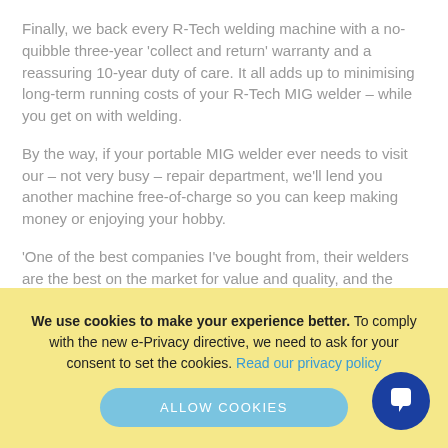Finally, we back every R-Tech welding machine with a no-quibble three-year 'collect and return' warranty and a reassuring 10-year duty of care. It all adds up to minimising long-term running costs of your R-Tech MIG welder – while you get on with welding.
By the way, if your portable MIG welder ever needs to visit our – not very busy – repair department, we'll lend you another machine free-of-charge so you can keep making money or enjoying your hobby.
'One of the best companies I've bought from, their welders are the best on the market for value and quality, and the customer service/2 year full warranty is superb. Top company. Will certainly buy from them again'
We use cookies to make your experience better. To comply with the new e-Privacy directive, we need to ask for your consent to set the cookies. Read our privacy policy